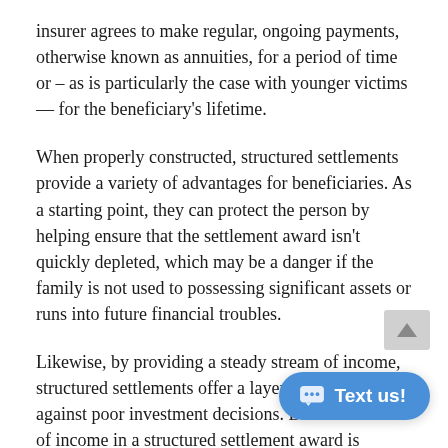insurer agrees to make regular, ongoing payments, otherwise known as annuities, for a period of time or – as is particularly the case with younger victims — for the beneficiary's lifetime.
When properly constructed, structured settlements provide a variety of advantages for beneficiaries. As a starting point, they can protect the person by helping ensure that the settlement award isn't quickly depleted, which may be a danger if the family is not used to possessing significant assets or runs into future financial troubles.
Likewise, by providing a steady stream of income, structured settlements offer a layer of protection against poor investment decisions. Due to inflatio[n, the stream] of income in a structured settlement award is generally